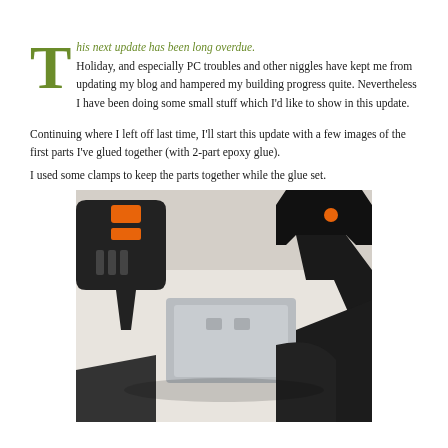T his next update has been long overdue. Holiday, and especially PC troubles and other niggles have kept me from updating my blog and hampered my building progress quite. Nevertheless I have been doing some small stuff which I'd like to show in this update.
Continuing where I left off last time, I'll start this update with a few images of the first parts I've glued together (with 2-part epoxy glue). I used some clamps to keep the parts together while the glue set.
[Figure (photo): Photo of black and orange clamps holding together small grey plastic parts on a white surface, with a gloved black hand visible]